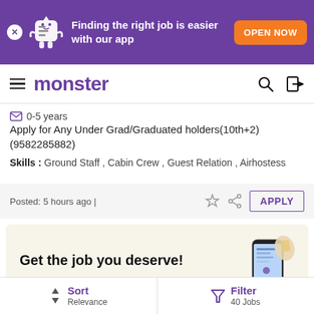[Figure (screenshot): Purple app promotion banner with mascot character, text 'Finding the right job is easier with our app', and orange 'OPEN NOW' button]
monster
0-5 years
Apply for Any Under Grad/Graduated holders(10th+2) (9582285882)
Skills: Ground Staff, Cabin Crew, Guest Relation, Airhostess
Posted: 5 hours ago |
APPLY
[Figure (infographic): Promotional card with cream background showing 'Get the job you deserve!' heading, 'Apply to top companies hiring right now.' subtext, and a phone/app illustration]
Sort Relevance | Filter 40 Jobs